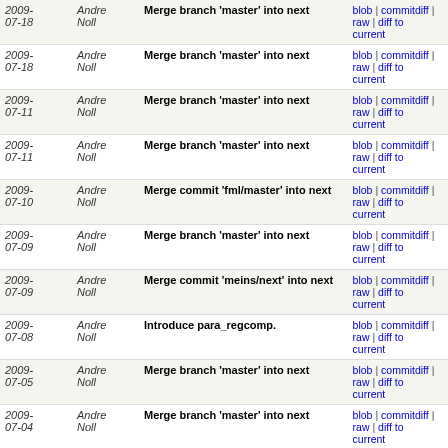| Date | Author | Message | Links |
| --- | --- | --- | --- |
| 2009-07-18 | Andre Noll | Merge branch 'master' into next | blob | commitdiff | raw | diff to current |
| 2009-07-18 | Andre Noll | Merge branch 'master' into next | blob | commitdiff | raw | diff to current |
| 2009-07-11 | Andre Noll | Merge branch 'master' into next | blob | commitdiff | raw | diff to current |
| 2009-07-11 | Andre Noll | Merge branch 'master' into next | blob | commitdiff | raw | diff to current |
| 2009-07-10 | Andre Noll | Merge commit 'fml/master' into next | blob | commitdiff | raw | diff to current |
| 2009-07-09 | Andre Noll | Merge branch 'master' into next | blob | commitdiff | raw | diff to current |
| 2009-07-09 | Andre Noll | Merge commit 'meins/next' into next | blob | commitdiff | raw | diff to current |
| 2009-07-08 | Andre Noll | Introduce para_regcomp. | blob | commitdiff | raw | diff to current |
| 2009-07-05 | Andre Noll | Merge branch 'master' into next | blob | commitdiff | raw | diff to current |
| 2009-07-04 | Andre Noll | Merge branch 'master' into next | blob | commitdiff | raw | diff to current |
| 2009-07-04 | Andre Noll | Merge branch 'afh_cleanup' into next. | blob | commitdiff | raw | diff to current |
| 2009-06-11 | Andre Noll | Fix para_strerror() and use osl() wrapper for osl libra... | blob | commitdiff | raw | diff to current |
| 2009- | Andre Noll | Merge commit 'meins/master' | blob | commitdiff | raw | diff to |